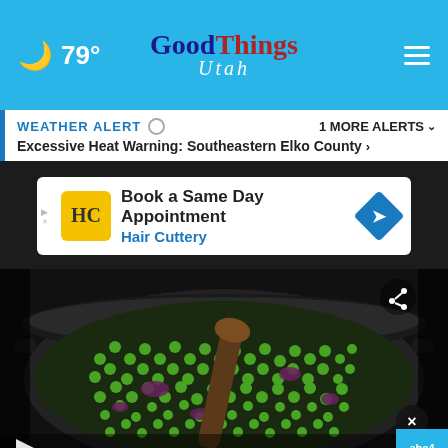79° Good Things Utah
WEATHER ALERT  1 MORE ALERTS ∨
Excessive Heat Warning: Southeastern Elko County >
[Figure (screenshot): Hair Cuttery advertisement banner: 'Book a Same Day Appointment / Hair Cuttery' with HC logo and directional arrow icon]
[Figure (photo): Close-up photo of green peas being cooked in a dark pot with a wooden spoon, on a stove]
[Figure (screenshot): Hair Cuttery advertisement banner: 'Ashburn  OPEN | 8AM-8PM / 44110 Ashburn Shopping Plaza 190, ..' with HC logo and directional arrow icon]